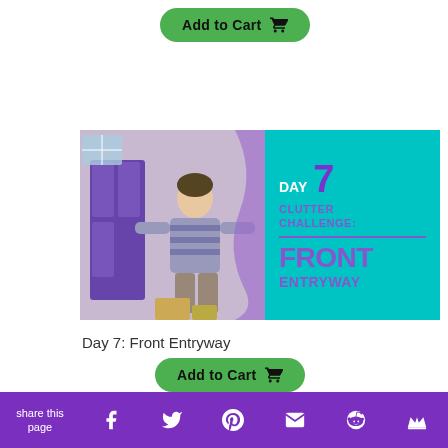[Figure (other): Green 'Add to Cart' button with shopping cart icon at top of page]
[Figure (photo): Day 7 Clutter Challenge: Front Entryway promotional card with photo of person by purple door on left, teal background with text on right]
Day 7: Front Entryway
[Figure (other): Green 'Add to Cart' button with shopping cart icon below Day 7 card]
[Figure (photo): Day 8 promotional card partially visible, showing photo on left and teal background with 'DAY 8' text on right]
share this page  [Facebook] [Twitter] [Pinterest] [Email] [Reddit] [Crown]